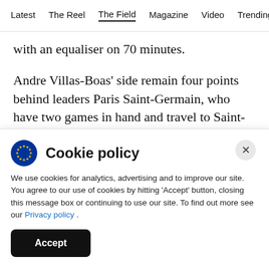Latest  The Reel  The Field  Magazine  Video  Trending
with an equaliser on 70 minutes.
Andre Villas-Boas' side remain four points behind leaders Paris Saint-Germain, who have two games in hand and travel to Saint-Etienne on Sunday.
“It will be important to rebound with a victory against Nimes (next Saturday) because we lost two
Cookie policy
We use cookies for analytics, advertising and to improve our site. You agree to our use of cookies by hitting ‘Accept’ button, closing this message box or continuing to use our site. To find out more see our Privacy policy .
Accept